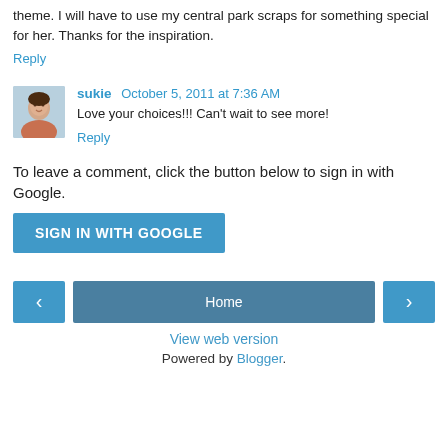theme. I will have to use my central park scraps for something special for her. Thanks for the inspiration.
Reply
sukie  October 5, 2011 at 7:36 AM
Love your choices!!! Can't wait to see more!
Reply
To leave a comment, click the button below to sign in with Google.
SIGN IN WITH GOOGLE
Home
View web version
Powered by Blogger.